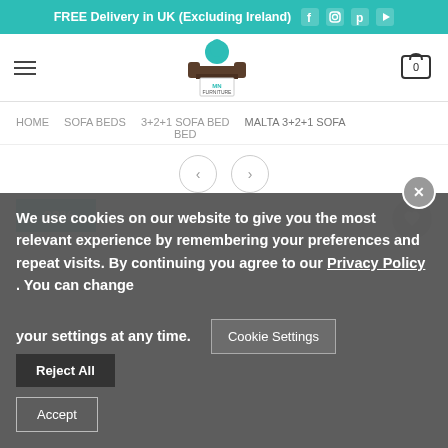FREE Delivery in UK (Excluding Ireland)
[Figure (logo): MN Furniture logo with teal crown and sofa icon]
HOME   SOFA BEDS   3+2+1 SOFA BED BED   MALTA 3+2+1 SOFA
-33%
We use cookies on our website to give you the most relevant experience by remembering your preferences and repeat visits. By continuing you agree to our Privacy Policy . You can change your settings at any time.
Cookie Settings   Reject All   Accept